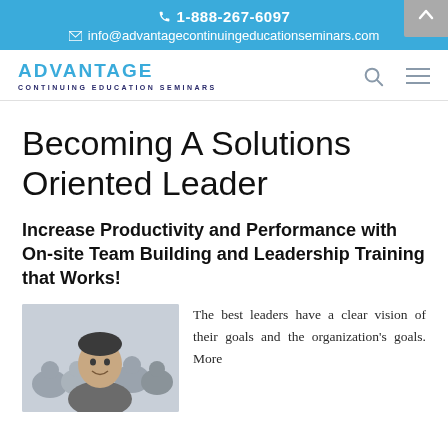☎ 1-888-267-6097
✉ info@advantagecontinuingeducationseminars.com
[Figure (logo): Advantage Continuing Education Seminars logo with search and menu icons]
Becoming A Solutions Oriented Leader
Increase Productivity and Performance with On-site Team Building and Leadership Training that Works!
[Figure (photo): A smiling man in front of a group of people in a seminar or team building session]
The best leaders have a clear vision of their goals and the organization's goals. More